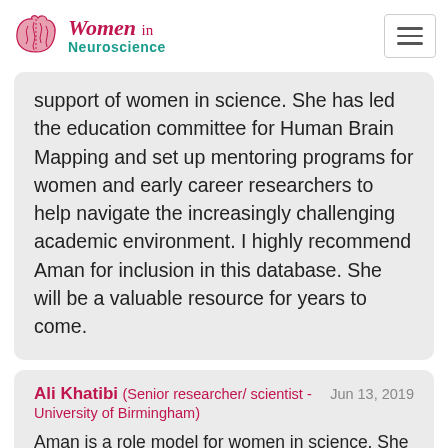Women in Neuroscience
support of women in science. She has led the education committee for Human Brain Mapping and set up mentoring programs for women and early career researchers to help navigate the increasingly challenging academic environment. I highly recommend Aman for inclusion in this database. She will be a valuable resource for years to come.
Ali Khatibi (Senior researcher/ scientist - University of Birmingham) Jun 13, 2019
Aman is a role model for women in science. She has extensive experience in leading